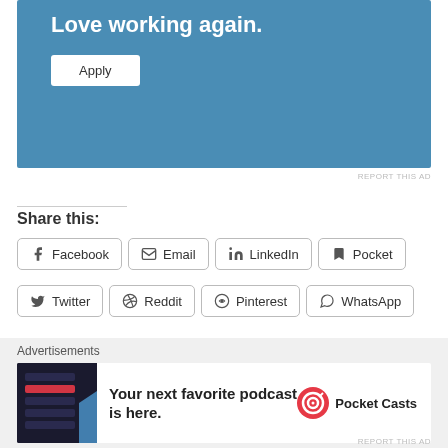[Figure (screenshot): Blue advertisement banner with text 'Love working again.' and an Apply button]
REPORT THIS AD
Share this:
Facebook
Email
LinkedIn
Pocket
Twitter
Reddit
Pinterest
WhatsApp
Advertisements
[Figure (screenshot): Pocket Casts advertisement: 'Your next favorite podcast is here.' with Pocket Casts logo]
REPORT THIS AD